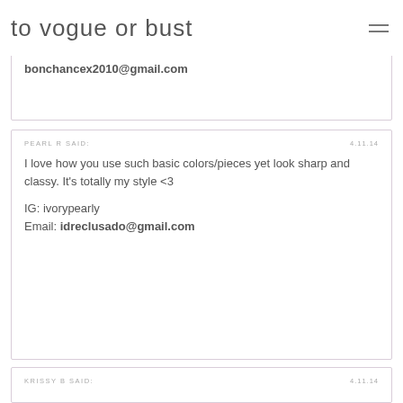to vogue or bust
bonchancex2010@gmail.com
PEARL R SAID:
4.11.14

I love how you use such basic colors/pieces yet look sharp and classy. It's totally my style <3

IG: ivorypearly
Email: idreclusado@gmail.com
KRISSY B SAID:
4.11.14